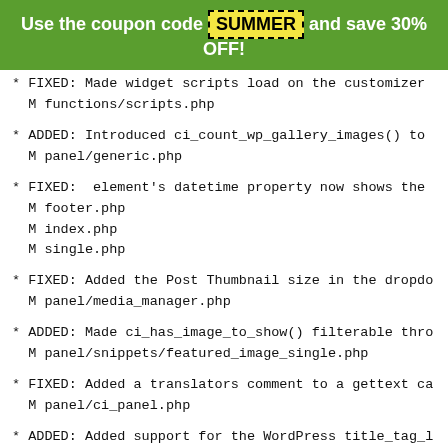Use the coupon code SUMMER and save 30% OFF!
* FIXED: Made widget scripts load on the customizer
  M functions/scripts.php
* ADDED: Introduced ci_count_wp_gallery_images() to
  M panel/generic.php
* FIXED: element's datetime property now shows the
  M footer.php
  M index.php
  M single.php
* FIXED: Added the Post Thumbnail size in the dropdo
  M panel/media_manager.php
* ADDED: Made ci_has_image_to_show() filterable thro
  M panel/snippets/featured_image_single.php
* FIXED: Added a translators comment to a gettext ca
  M panel/ci_panel.php
* ADDED: Added support for the WordPress title_tag_l